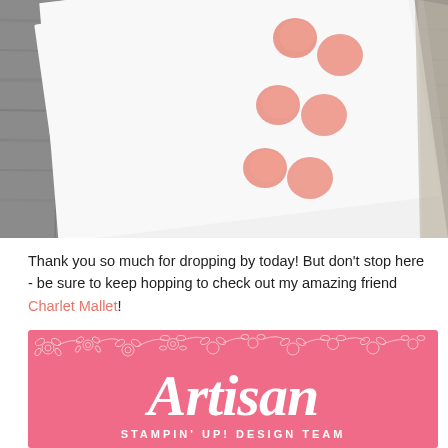[Figure (photo): Top-down photo of a white card with coral/salmon ink stamp dots arranged diagonally, on a dark gray wooden surface background]
Thank you so much for dropping by today! But don't stop here - be sure to keep hopping to check out my amazing friend Charlet Mallet!
[Figure (logo): Artisan Stampin' Up! Design Team banner - pink background with white floral border pattern at top and white script text reading 'Artisan' with 'STAMPIN' UP! DESIGN TEAM' below]